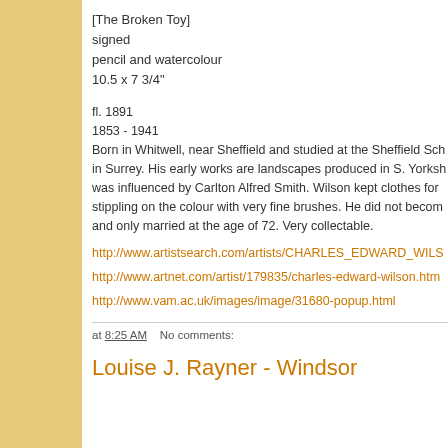[The Broken Toy]
signed
pencil and watercolour
10.5 x 7 3/4"
fl. 1891
1853 - 1941
Born in Whitwell, near Sheffield and studied at the Sheffield Sch
in Surrey. His early works are landscapes produced in S. Yorksh
was influenced by Carlton Alfred Smith. Wilson kept clothes for
stippling on the colour with very fine brushes. He did not becom
and only married at the age of 72. Very collectable.
http://www.artistsearch.com/artists/CHARLES_EDWARD_WILS
http://www.artnet.com/artist/179835/charles-edward-wilson.htm
http://www.vam.ac.uk/images/image/31680-popup.html
at 8:25 AM   No comments:
Louise J. Rayner - Windsor